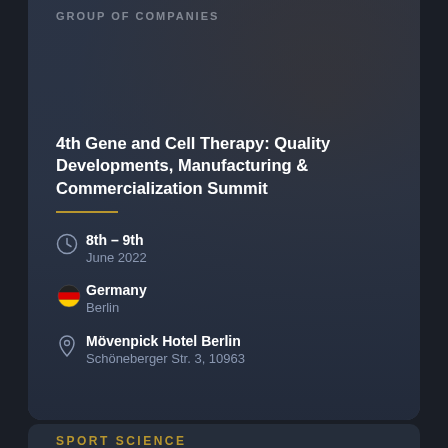GROUP OF COMPANIES
4th Gene and Cell Therapy: Quality Developments, Manufacturing & Commercialization Summit
8th – 9th June 2022
Germany Berlin
Mövenpick Hotel Berlin Schöneberger Str. 3, 10963
SPORT SCIENCE